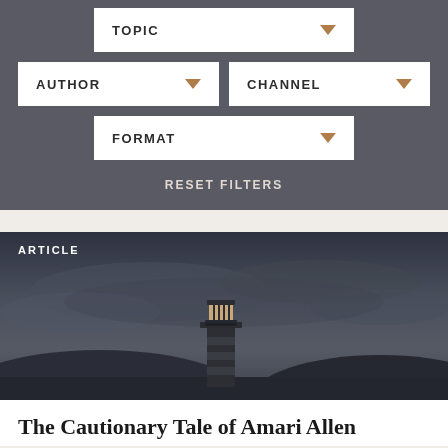TOPIC
AUTHOR
CHANNEL
FORMAT
RESET FILTERS
ARTICLE
[Figure (photo): Dark moody photo of a lighthouse or tower structure against a stormy sky, with clouds in the background]
The Cautionary Tale of Amari Allen